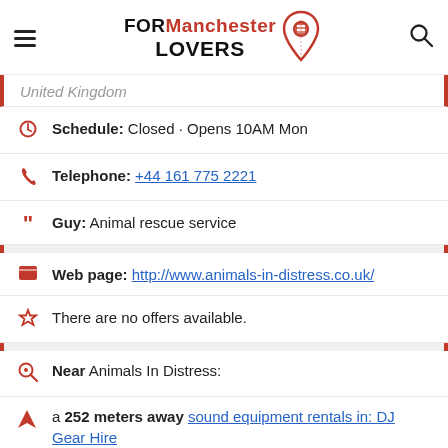[Figure (logo): FORManchester LOVERS logo with red map pin icon and hamburger menu and search icon]
United Kingdom
Schedule: Closed · Opens 10AM Mon
Telephone: +44 161 775 2221
Guy: Animal rescue service
Web page: http://www.animals-in-distress.co.uk/
There are no offers available.
Near Animals In Distress:
a 252 meters away sound equipment rentals in: DJ Gear Hire
a 253 meters away financial advisors in: Kemp Barnes Financial Planning - Financial Adviser, Pensions & Investments
a 311 meters away communion catering in: M44